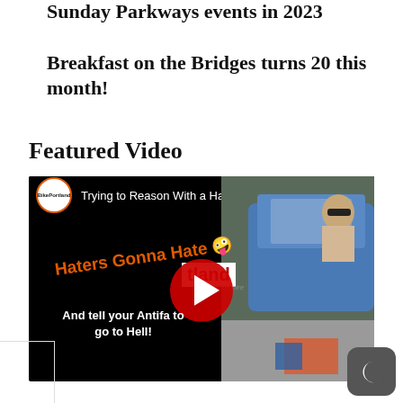Sunday Parkways events in 2023
Breakfast on the Bridges turns 20 this month!
Featured Video
[Figure (screenshot): YouTube video thumbnail showing 'Trying to Reason With a Hater o...' by BikePortland. The thumbnail shows text 'Haters Gonna Hate' with emoji, 'And tell your Antifa to go to Hell!' overlaid on a scene with a blue car and a person, with BikePortland branding.]